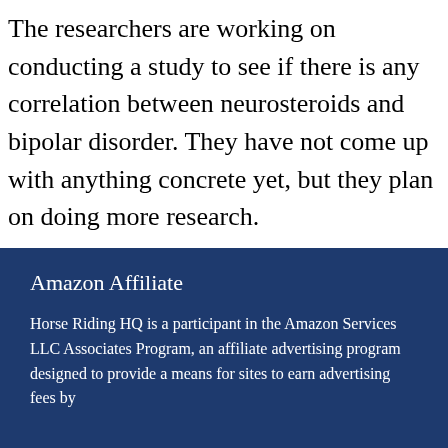The researchers are working on conducting a study to see if there is any correlation between neurosteroids and bipolar disorder. They have not come up with anything concrete yet, but they plan on doing more research.
Amazon Affiliate
Horse Riding HQ is a participant in the Amazon Services LLC Associates Program, an affiliate advertising program designed to provide a means for sites to earn advertising fees by